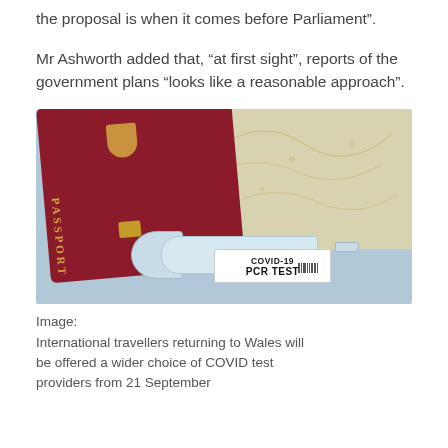the proposal is when it comes before Parliament”.
Mr Ashworth added that, “at first sight”, reports of the government plans “looks like a reasonable approach”.
[Figure (photo): A red passport and a COVID-19 PCR test tube lying on a light blue map background.]
Image:
International travellers returning to Wales will be offered a wider choice of COVID test providers from 21 September